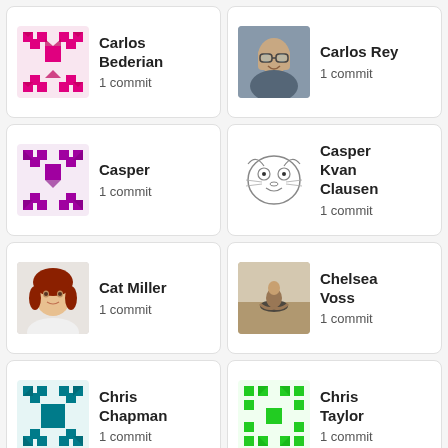[Figure (illustration): Pink/magenta geometric pixel avatar for Carlos Bederian]
Carlos Bederian
1 commit
[Figure (photo): Photo of Carlos Rey, a young man with glasses]
Carlos Rey
1 commit
[Figure (illustration): Magenta/purple geometric pixel avatar for Casper]
Casper
1 commit
[Figure (illustration): Sketch/cartoon illustration avatar for Casper Kvan Clausen]
Casper Kvan Clausen
1 commit
[Figure (photo): Photo of Cat Miller, a woman with red hair]
Cat Miller
1 commit
[Figure (photo): Photo of Chelsea Voss, a person seated in meditation pose]
Chelsea Voss
1 commit
[Figure (illustration): Teal/cyan geometric pixel avatar for Chris Chapman]
Chris Chapman
1 commit
[Figure (illustration): Green geometric pixel avatar for Chris Taylor]
Chris Taylor
1 commit